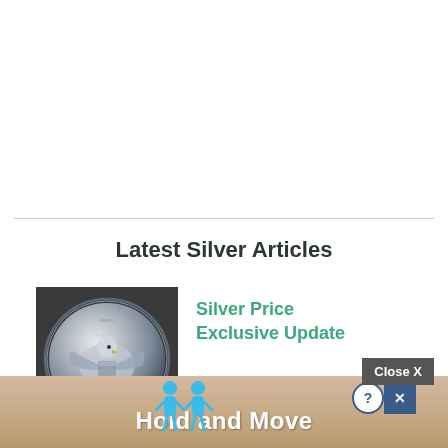Latest Silver Articles
[Figure (photo): Close-up photo of a silver coin (American Eagle) with detailed eagle emblem engraving]
Silver Price Exclusive Update
[Figure (screenshot): Advertisement banner showing two cartoon figures and text 'Hold and Move' with close and help icons]